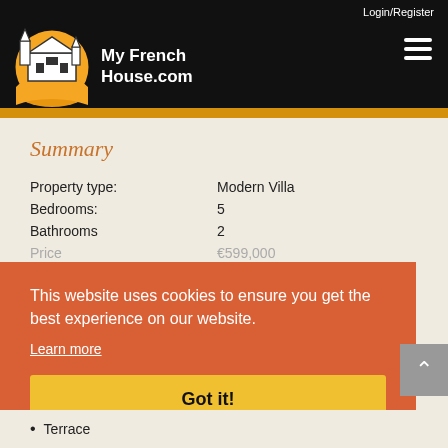Login/Register
[Figure (logo): My French House.com logo with illustrated French villa and golden hills inside a circular frame, white text on black background]
Summary
| Property type: | Modern Villa |
| Bedrooms: | 5 |
| Bathrooms | 2 |
| Price | €599,000 |
This website uses cookies to ensure you get the best experience on our website.
Learn more
Got it!
Terrace